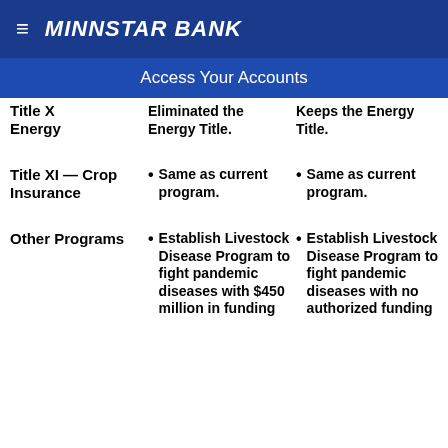MINNSTAR BANK
Access Your Accounts
Title X Energy	Eliminated the Energy Title.	Keeps the Energy Title.
Title XI — Crop Insurance | Same as current program. | Same as current program.
Other Programs | Establish Livestock Disease Program to fight pandemic diseases with $450 million in funding | Establish Livestock Disease Program to fight pandemic diseases with no authorized funding